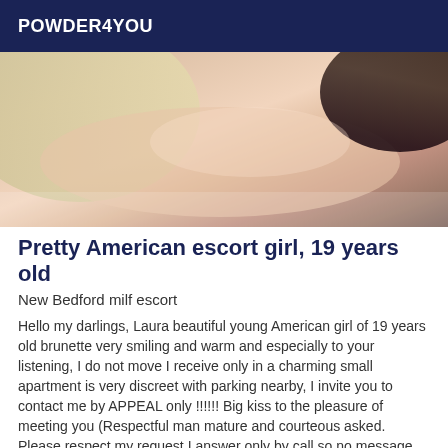POWDER4YOU
[Figure (photo): Close-up photo of a young woman lying down, skin tones visible, dark hair, soft lighting]
Pretty American escort girl, 19 years old
New Bedford milf escort
Hello my darlings, Laura beautiful young American girl of 19 years old brunette very smiling and warm and especially to your listening, I do not move I receive only in a charming small apartment is very discreet with parking nearby, I invite you to contact me by APPEAL only !!!!!! Big kiss to the pleasure of meeting you (Respectful man mature and courteous asked. Please respect my request I answer only by call so no message on the site or sms because it will not remain unanswered